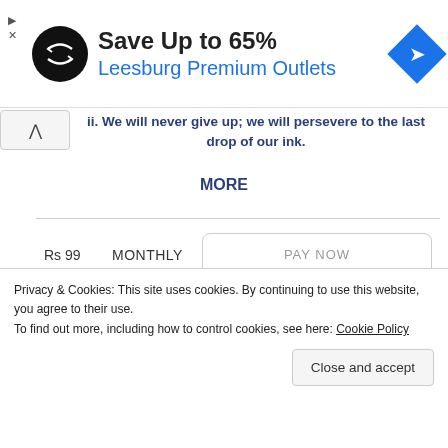[Figure (illustration): Advertisement banner: circular black logo with arrow icon, text 'Save Up to 65% Leesburg Premium Outlets', blue diamond direction icon on the right]
ii. We will never give up; we will persevere to the last drop of our ink.
MORE
| Price | Period | Action |
| --- | --- | --- |
| Rs 99 | MONTHLY | PAY NOW |
| Rs 999 | YEARLY | PAY NOW |
Privacy & Cookies: This site uses cookies. By continuing to use this website, you agree to their use.
To find out more, including how to control cookies, see here: Cookie Policy
Close and accept